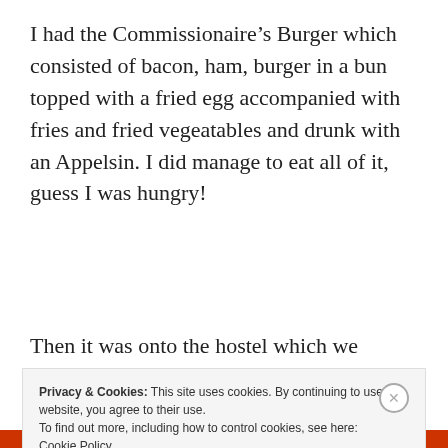I had the Commissionaire’s Burger which consisted of bacon, ham, burger in a bun topped with a fried egg accompanied with fries and fried vegeatables and drunk with an Appelsin. I did manage to eat all of it, guess I was hungry!
Then it was onto the hostel which we
Privacy & Cookies: This site uses cookies. By continuing to use this website, you agree to their use.
To find out more, including how to control cookies, see here:
Cookie Policy
Close and accept